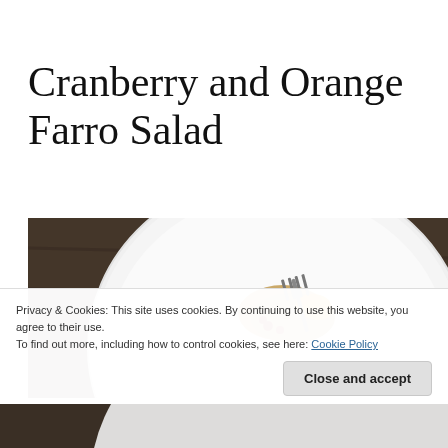Cranberry and Orange Farro Salad
[Figure (photo): A white plate with cranberry and orange farro salad, a fork resting on the plate, on a dark wooden surface. Top-down view.]
Privacy & Cookies: This site uses cookies. By continuing to use this website, you agree to their use.
To find out more, including how to control cookies, see here: Cookie Policy
Close and accept